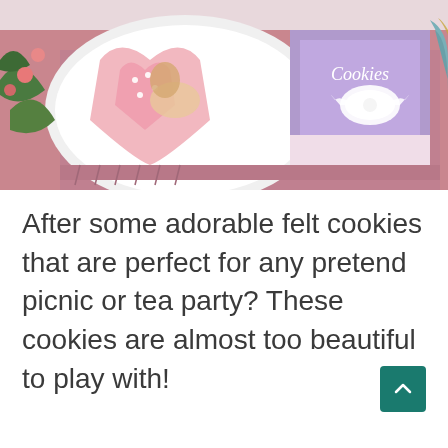[Figure (photo): Overhead photo of decorative cookie gift boxes on a pink/mauve tablecloth. A heart-shaped box contains pink frosted heart-shaped cookies with pearl decorations. A rectangular purple glitter box labeled 'Cookies' with a white ribbon bow sits next to it. Green leaves and pink flowers visible at left edge, teal plate partially visible at right edge.]
After some adorable felt cookies that are perfect for any pretend picnic or tea party? These cookies are almost too beautiful to play with!